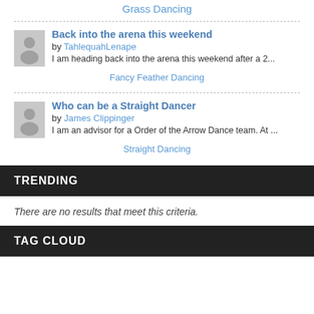Grass Dancing
Back into the arena this weekend
by TahlequahLenape
I am heading back into the arena this weekend after a 2...
Fancy Feather Dancing
Who can be a Straight Dancer
by James Clippinger
I am an advisor for a Order of the Arrow Dance team. At ...
Straight Dancing
TRENDING
There are no results that meet this criteria.
TAG CLOUD